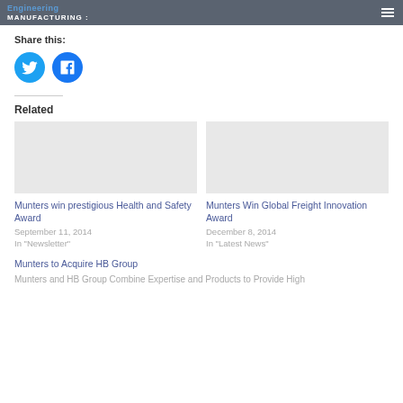Engineering Manufacturing
Share this:
[Figure (illustration): Twitter and Facebook social share circular icon buttons in blue]
Related
[Figure (photo): Placeholder image for Munters win prestigious Health and Safety Award]
Munters win prestigious Health and Safety Award
September 11, 2014
In "Newsletter"
[Figure (photo): Placeholder image for Munters Win Global Freight Innovation Award]
Munters Win Global Freight Innovation Award
December 8, 2014
In "Latest News"
Munters to Acquire HB Group
Munters and HB Group Combine Expertise and Products to Provide High